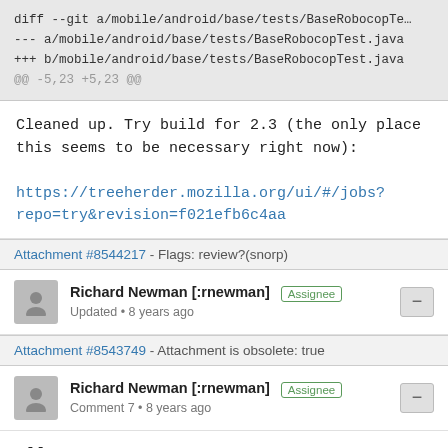[Figure (screenshot): Code diff snippet showing git diff header lines for mobile/android/base/tests/BaseRobocopTest.java]
Cleaned up. Try build for 2.3 (the only place this seems to be necessary right now):

https://treeherder.mozilla.org/ui/#/jobs?repo=try&revision=f021efb6c4aa
Attachment #8544217 - Flags: review?(snorp)
Richard Newman [:rnewman] Assignee
Updated • 8 years ago
Attachment #8543749 - Attachment is obsolete: true
Richard Newman [:rnewman] Assignee
Comment 7 • 8 years ago
All green!